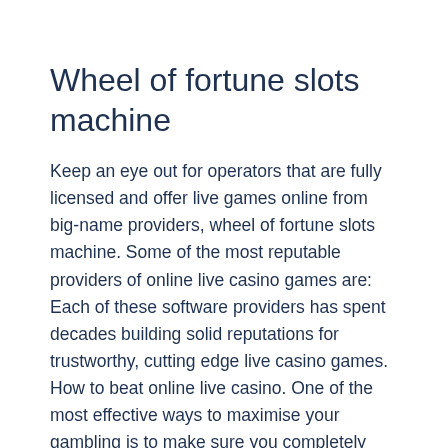Wheel of fortune slots machine
Keep an eye out for operators that are fully licensed and offer live games online from big-name providers, wheel of fortune slots machine. Some of the most reputable providers of online live casino games are: Each of these software providers has spent decades building solid reputations for trustworthy, cutting edge live casino games. How to beat online live casino. One of the most effective ways to maximise your gambling is to make sure you completely understand the rules of the game. Live dealer casinos are ideal because trained dealers are more than happy to explain the rules.
Pull up a chair at any of our popular games: